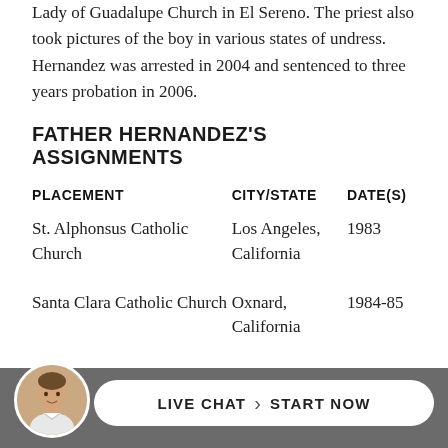Lady of Guadalupe Church in El Sereno. The priest also took pictures of the boy in various states of undress. Hernandez was arrested in 2004 and sentenced to three years probation in 2006.
FATHER HERNANDEZ'S ASSIGNMENTS
| PLACEMENT | CITY/STATE | DATE(S) |
| --- | --- | --- |
| St. Alphonsus Catholic Church | Los Angeles, California | 1983 |
| Santa Clara Catholic Church | Oxnard, California | 1984-85 |
| St. Stephen Catholic Church | Monterey Park, California | 1986-86 |